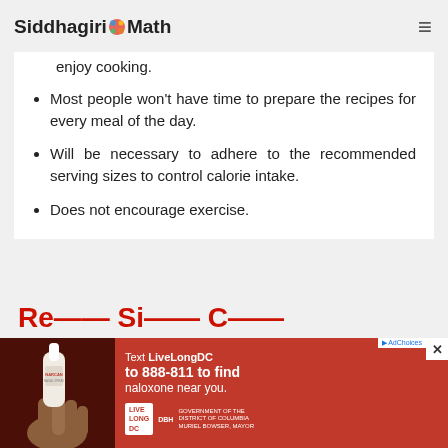Siddhagiri-Math
enjoy cooking.
Most people won't have time to prepare the recipes for every meal of the day.
Will be necessary to adhere to the recommended serving sizes to control calorie intake.
Does not encourage exercise.
[Figure (photo): Advertisement banner: Text LiveLongDC to 888-811 to find naloxone near you. Shows a hand holding a Narcan nasal spray. Live Long DC and DBH logos visible. Red background.]